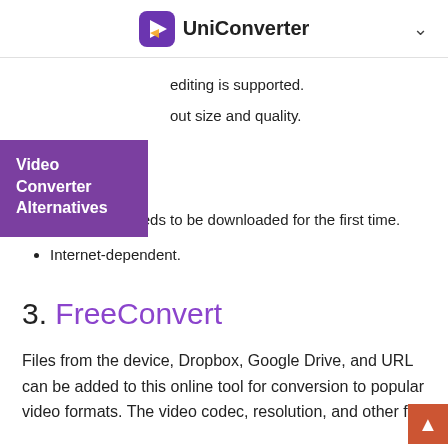UniConverter
Basic video editing is supported.
...out size and quality.
Video Converter Alternatives
Cons:
A launcher needs to be downloaded for the first time.
Internet-dependent.
3. FreeConvert
Files from the device, Dropbox, Google Drive, and URL can be added to this online tool for conversion to popular video formats. The video codec, resolution, and other file